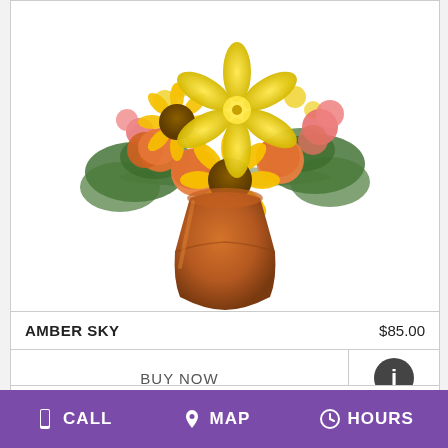[Figure (photo): Floral arrangement called Amber Sky featuring orange roses, yellow lilies, sunflowers, pink carnations, and yellow solidago in an amber/orange vase on a white background]
AMBER SKY   $85.00
BUY NOW
[Figure (photo): Partial view of another floral product card showing green plant stems]
CALL   MAP   HOURS